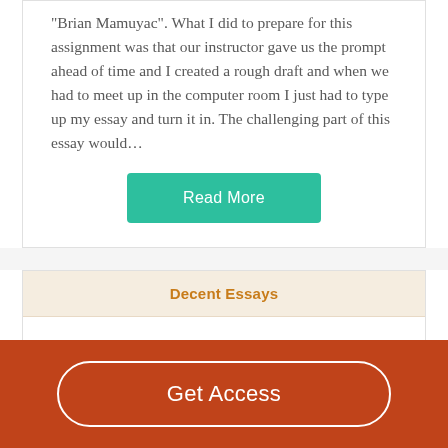“Brian Mamuyac”. What I did to prepare for this assignment was that our instructor gave us the prompt ahead of time and I created a rough draft and when we had to meet up in the computer room I just had to type up my essay and turn it in. The challenging part of this essay would…
Read More
Decent Essays
Analysis Of `` On Self Respect `` By Joan Didion
1077 Words
Get Access